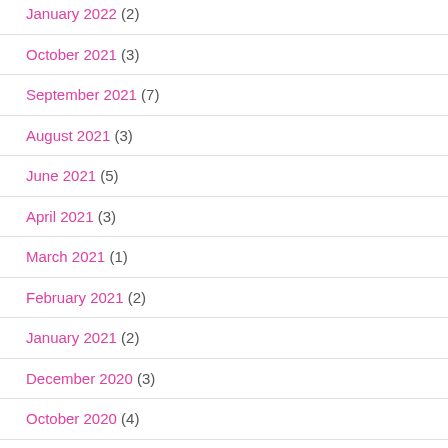January 2022 (2)
October 2021 (3)
September 2021 (7)
August 2021 (3)
June 2021 (5)
April 2021 (3)
March 2021 (1)
February 2021 (2)
January 2021 (2)
December 2020 (3)
October 2020 (4)